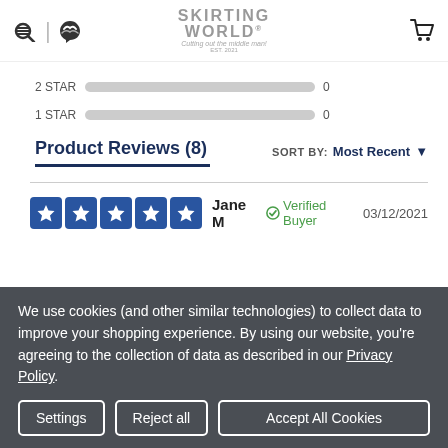Skirting World — Cutting out the middle man! EST. 2021
2 STAR  0
1 STAR  0
Product Reviews (8)
SORT BY: Most Recent
Jane M   Verified Buyer   03/12/2021
We use cookies (and other similar technologies) to collect data to improve your shopping experience. By using our website, you're agreeing to the collection of data as described in our Privacy Policy.
Settings | Reject all | Accept All Cookies